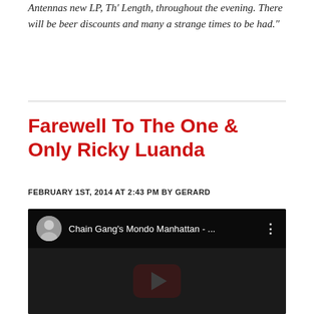Antennas new LP, Th' Length, throughout the evening. There will be beer discounts and many a strange times to be had."
Farewell To The One & Only Ricky Luanda
FEBRUARY 1ST, 2014 AT 2:43 PM BY GERARD
[Figure (screenshot): YouTube video embed showing 'Chain Gang's Mondo Manhattan - ...' with a dark background, video avatar thumbnail, and YouTube play button overlay]